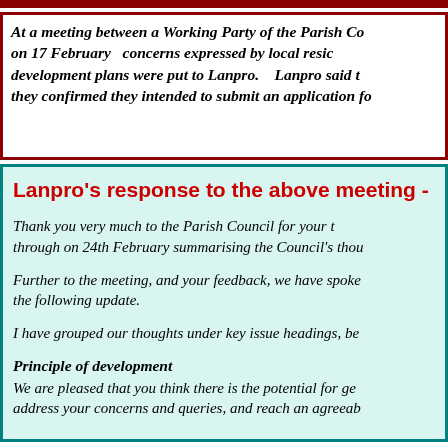At a meeting between a Working Party of the Parish Co... on 17 February concerns expressed by local resid... development plans were put to Lanpro. Lanpro said th... they confirmed they intended to submit an application fo...
Lanpro's response to the above meeting -
Thank you very much to the Parish Council for your t... through on 24th February summarising the Council's thou...
Further to the meeting, and your feedback, we have spoke... the following update.
I have grouped our thoughts under key issue headings, be...
Principle of development
We are pleased that you think there is the potential for ge... address your concerns and queries, and reach an agreeab...